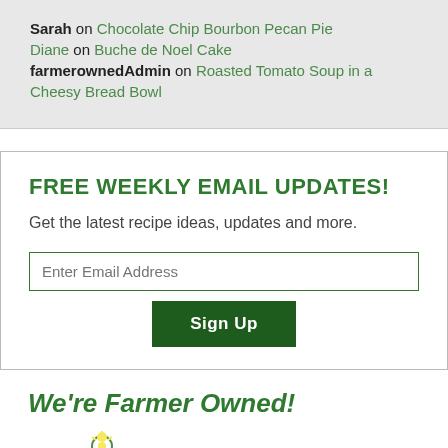Sarah on Chocolate Chip Bourbon Pecan Pie
Diane on Buche de Noel Cake
farmerownedAdmin on Roasted Tomato Soup in a Cheesy Bread Bowl
FREE WEEKLY EMAIL UPDATES!
Get the latest recipe ideas, updates and more.
Enter Email Address
Sign Up
We're Farmer Owned!